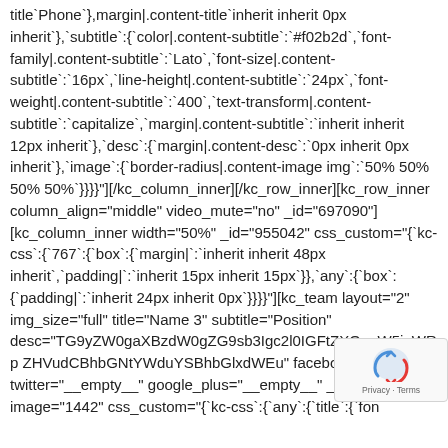title`Phone`},margin|.content-title`inherit inherit 0px inherit`},`subtitle`:{`color|.content-subtitle`:`#f02b2d`,`font-family|.content-subtitle`:`Lato`,`font-size|.content-subtitle`:`16px`,`line-height|.content-subtitle`:`24px`,`font-weight|.content-subtitle`:`400`,`text-transform|.content-subtitle`:`capitalize`,`margin|.content-subtitle`:`inherit inherit 12px inherit`},`desc`:{`margin|.content-desc`:`0px inherit 0px inherit`},`image`:{`border-radius|.content-image img`:`50% 50% 50% 50%`}}}}"]​[/kc_column_inner][/kc_row_inner][kc_row_inner column_align="middle" video_mute="no" _id="697090"] [kc_column_inner width="50%" _id="955042" css_custom="{`kc-css`:{`767`:{`box`:{`margin|`:`inherit inherit 48px inherit`,`padding|`:`inherit 15px inherit 15px`}},`any`:{`box`:{`padding|`:`inherit 24px inherit 0px`}}}}"][kc_team layout="2" img_size="full" title="Name 3" subtitle="Position" desc="TG9yZW0gaXBzdW0gZG9sb3Igc2l0IGFtZXQgaW5jaWRpZHVudCBhbGNtYWduYSBhbGlxdWE" facebook="_empty_" twitter="_empty_" google_plus="_empty_" _id="8504" image="1442" css_custom="{`kc-css`:{`any`:{`title`:{`fon